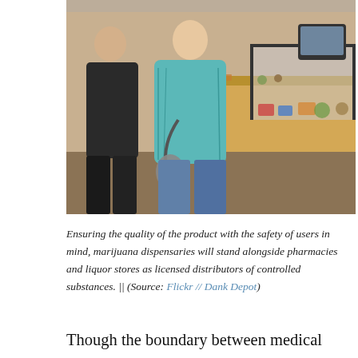[Figure (photo): Photo of customers at a marijuana dispensary counter with display cases showing cannabis products]
Ensuring the quality of the product with the safety of users in mind, marijuana dispensaries will stand alongside pharmacies and liquor stores as licensed distributors of controlled substances. || (Source: Flickr // Dank Depot)
Though the boundary between medical marijuana and cannabis obtained for recreational purposes may prove enduring in the new policy framework, the present moral uncertainty could benefit from allowing for licensed testing of all cannabis. As Vancouver